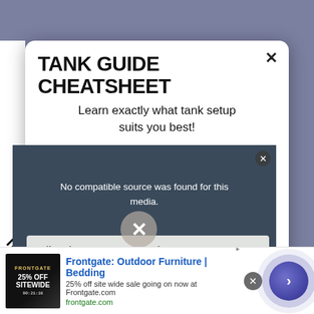[Figure (screenshot): Website screenshot showing a modal popup overlay with title 'TANK GUIDE CHEATSHEET', subtitle 'Learn exactly what tank setup suits you best!', and an embedded video player showing 'No compatible source was found for this media.' with handwritten text 'Molly Fish: Care, Diet, Types, and Lifespan of Mollies'. Below is an advertisement banner for 'Frontgate: Outdoor Furniture | Bedding' with '25% off site wide sale going on now at Frontgate.com' and URL 'frontgate.com'.]